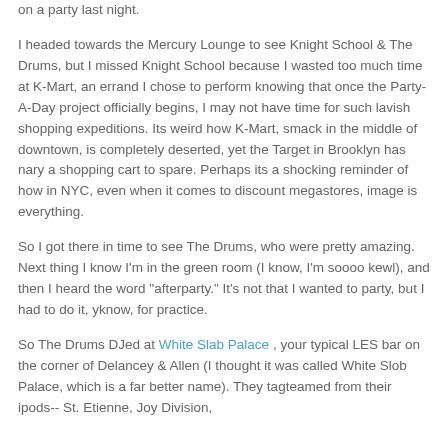on a party last night.
I headed towards the Mercury Lounge to see Knight School & The Drums, but I missed Knight School because I wasted too much time at K-Mart, an errand I chose to perform knowing that once the Party-A-Day project officially begins, I may not have time for such lavish shopping expeditions. Its weird how K-Mart, smack in the middle of downtown, is completely deserted, yet the Target in Brooklyn has nary a shopping cart to spare. Perhaps its a shocking reminder of how in NYC, even when it comes to discount megastores, image is everything.
So I got there in time to see The Drums, who were pretty amazing. Next thing I know I'm in the green room (I know, I'm soooo kewl), and then I heard the word "afterparty." It's not that I wanted to party, but I had to do it, yknow, for practice.
So The Drums DJed at White Slab Palace , your typical LES bar on the corner of Delancey & Allen (I thought it was called White Slob Palace, which is a far better name). They tagteamed from their ipods-- St. Etienne, Joy Division,